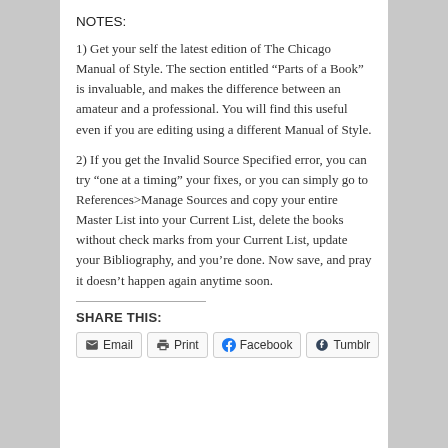NOTES:
1) Get your self the latest edition of The Chicago Manual of Style. The section entitled “Parts of a Book” is invaluable, and makes the difference between an amateur and a professional. You will find this useful even if you are editing using a different Manual of Style.
2) If you get the Invalid Source Specified error, you can try “one at a timing” your fixes, or you can simply go to References>Manage Sources and copy your entire Master List into your Current List, delete the books without check marks from your Current List, update your Bibliography, and you’re done. Now save, and pray it doesn’t happen again anytime soon.
SHARE THIS:
Email | Print | Facebook | Tumblr